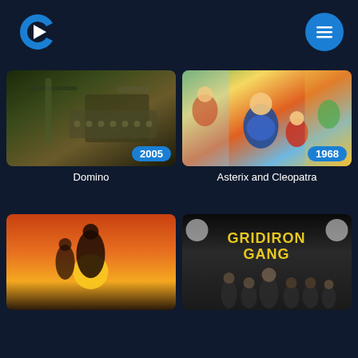[Figure (screenshot): App header with streaming service logo (C shape, blue) on left and blue circle menu button with hamburger icon on right, on dark navy background]
[Figure (screenshot): Movie thumbnail for Domino (2005) - dark action movie still with machinery]
Domino
[Figure (screenshot): Movie thumbnail for Asterix and Cleopatra (1968) - colorful animated cartoon scene]
Asterix and Cleopatra
[Figure (screenshot): Movie thumbnail - orange/red poster with silhouettes against sunset]
[Figure (screenshot): Movie thumbnail for Gridiron Gang - yellow title text over dark image of group of people]